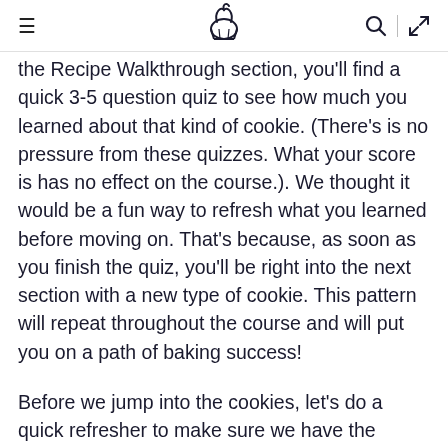≡  [cookie logo]  🔍 | ↗
the Recipe Walkthrough section, you'll find a quick 3-5 question quiz to see how much you learned about that kind of cookie.  (There's is no pressure from these quizzes.  What your score is has no effect on the course.).  We thought it would be a fun way to refresh what you learned before moving on.  That's because, as soon as you finish the quiz, you'll be right into the next section with a new type of cookie.  This pattern will repeat throughout the course and will put you on a path of baking success!
Before we jump into the cookies, let's do a quick refresher to make sure we have the basics down correctly.